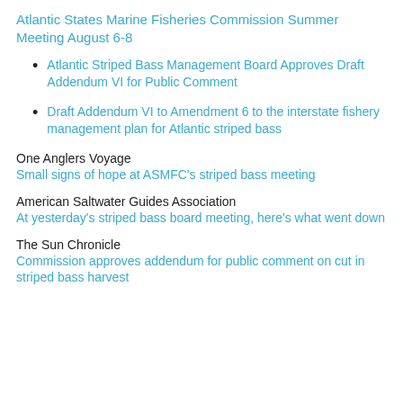Atlantic States Marine Fisheries Commission Summer Meeting August 6-8
Atlantic Striped Bass Management Board Approves Draft Addendum VI for Public Comment
Draft Addendum VI to Amendment 6 to the interstate fishery management plan for Atlantic striped bass
One Anglers Voyage
Small signs of hope at ASMFC's striped bass meeting
American Saltwater Guides Association
At yesterday's striped bass board meeting, here's what went down
The Sun Chronicle
Commission approves addendum for public comment on cut in striped bass harvest